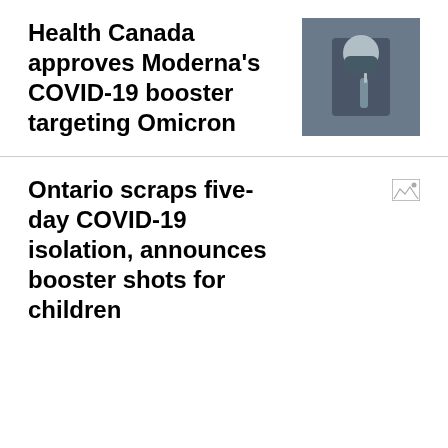Health Canada approves Moderna’s COVID-19 booster targeting Omicron
[Figure (photo): Photo of a masked healthcare worker preparing a vaccine injection]
Ontario scraps five-day COVID-19 isolation, announces booster shots for children
[Figure (photo): Broken/unavailable image thumbnail]